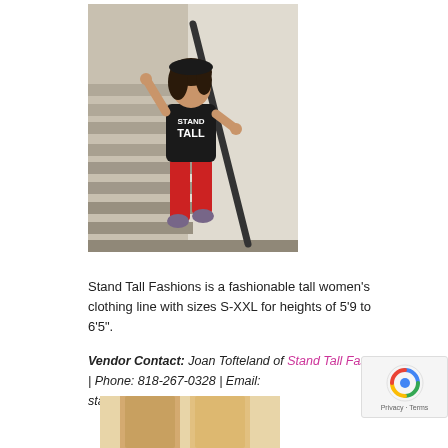[Figure (photo): A tall woman wearing a black 'Stand Tall' tank top and red pants, posing on outdoor stairs with a railing, wearing athletic shoes.]
Stand Tall Fashions is a fashionable tall women's clothing line with sizes S-XXL for heights of 5'9 to 6'5".
Vendor Contact: Joan Tofteland of Stand Tall Fashions | Phone: 818-267-0328 | Email: standtallstore@gmail.com
[Figure (photo): Partial view of a model showing clothing from Stand Tall Fashions at the bottom of the page.]